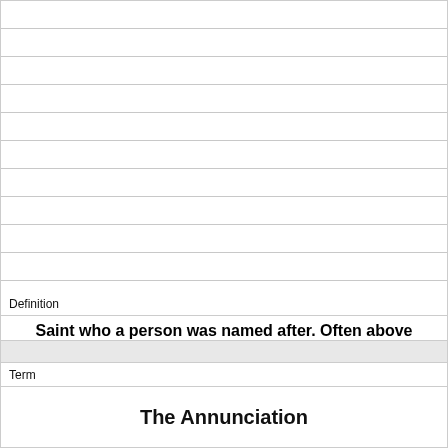Definition
Saint who a person was named after. Often above and beyond them in paintings
Term
The Annunciation